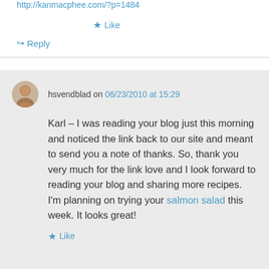http://kanmacphee.com/?p=1484
★ Like
↪ Reply
hsvendblad on 06/23/2010 at 15:29
Karl – I was reading your blog just this morning and noticed the link back to our site and meant to send you a note of thanks. So, thank you very much for the link love and I look forward to reading your blog and sharing more recipes. I'm planning on trying your salmon salad this week. It looks great!
★ Like